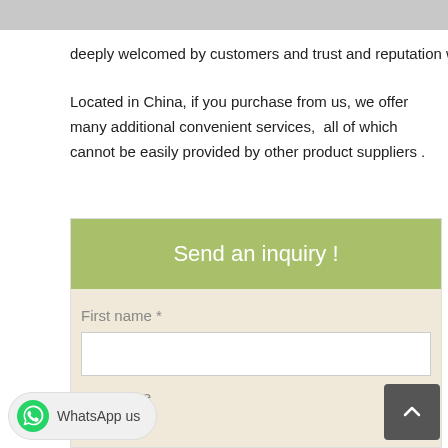deeply welcomed by customers and trust and reputation wi...
Located in China, if you purchase from us, we offer many additional convenient services,  all of which cannot be easily provided by other product suppliers .
[Figure (other): Contact form with green 'Send an inquiry !' header, First name and Last name fields on beige background]
WhatsApp us